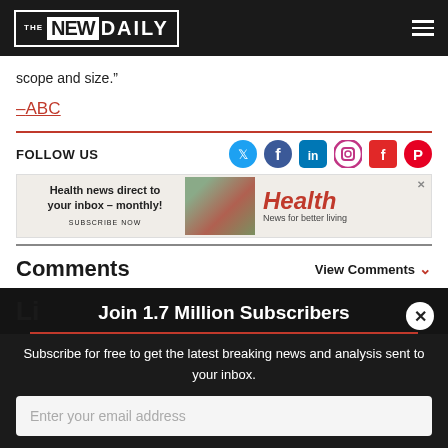THE NEW DAILY
scope and size.”
–ABC
FOLLOW US
[Figure (screenshot): Health news advertisement banner: 'Health news direct to your inbox – monthly! SUBSCRIBE NOW' with Health News for better living branding]
Comments
View Comments
Join 1.7 Million Subscribers
Subscribe for free to get the latest breaking news and analysis sent to your inbox.